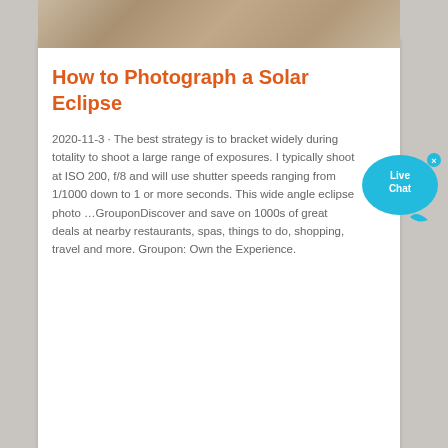[Figure (photo): Partial image strip at top of card showing a nature/eclipse related photograph with muted brown tones]
How to Photograph a Solar Eclipse
2020-11-3 · The best strategy is to bracket widely during totality to shoot a large range of exposures. I typically shoot at ISO 200, f/8 and will use shutter speeds ranging from 1/1000 down to 1 or more seconds. This wide angle eclipse photo …GrouponDiscover and save on 1000s of great deals at nearby restaurants, spas, things to do, shopping, travel and more. Groupon: Own the Experience.
[Figure (other): Live Chat bubble widget in cyan/teal color with 'Live Chat' text and a close X button]